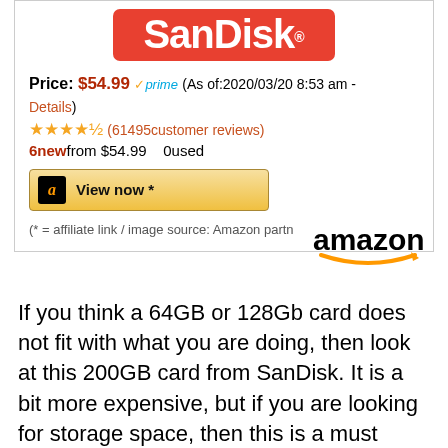[Figure (logo): SanDisk logo — white text on red/orange rounded rectangle background]
Price: $54.99 ✓prime (As of:2020/03/20 8:53 am - Details)
★★★★☆ (61495customer reviews)
6new from $54.99    0used
[Figure (screenshot): Amazon 'View now *' button with Amazon 'a' logo]
(* = affiliate link / image source: Amazon partn...
[Figure (logo): Amazon logo — black text with orange smile arrow]
If you think a 64GB or 128Gb card does not fit with what you are doing, then look at this 200GB card from SanDisk. It is a bit more expensive, but if you are looking for storage space, then this is a must have. You can take